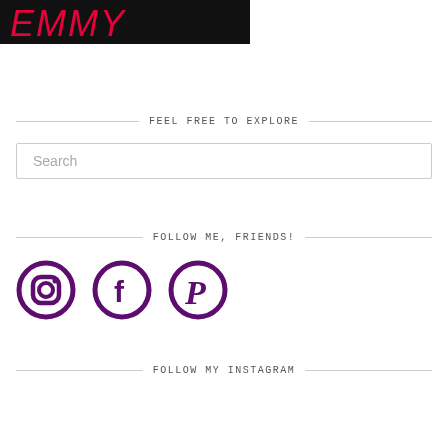[Figure (photo): Partial photo of a person wearing a black top with red/pink graphic text, blonde hair visible at top]
FEEL FREE TO EXPLORE
Search
FOLLOW ME, FRIENDS!
[Figure (illustration): Three social media icons: Instagram, Facebook, and Pinterest, in dark purple color]
FOLLOW MY INSTAGRAM